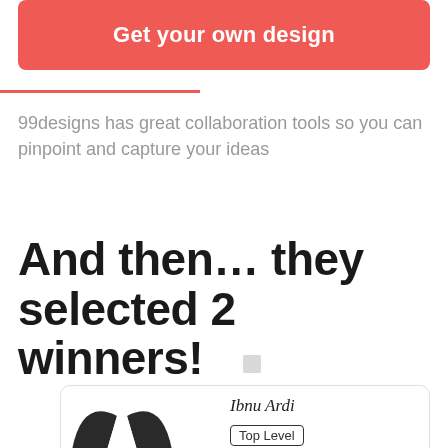[Figure (other): Red/coral rounded button with white bold text 'Get your own design']
99designs has great collaboration tools so you can pinpoint and capture your ideas
And then... they selected 2 winners!
[Figure (other): Designer card showing a stylized dark 'A' logo, designer name 'Ibnu Ardi', and a 'Top Level' badge label]